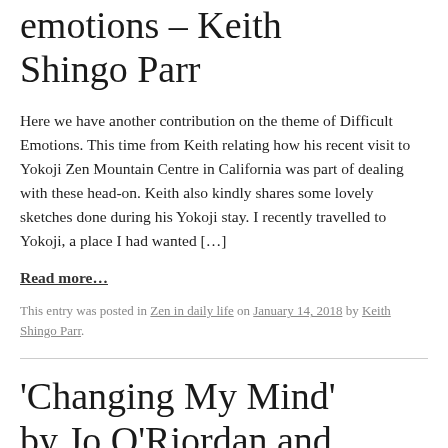emotions – Keith Shingo Parr
Here we have another contribution on the theme of Difficult Emotions. This time from Keith relating how his recent visit to Yokoji Zen Mountain Centre in California was part of dealing with these head-on. Keith also kindly shares some lovely sketches done during his Yokoji stay. I recently travelled to Yokoji, a place I had wanted […]
Read more…
This entry was posted in Zen in daily life on January 14, 2018 by Keith Shingo Parr.
'Changing My Mind' by Jo O'Riordan and Keith Parr